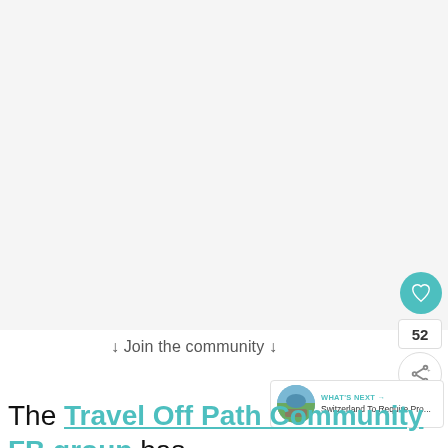[Figure (other): Large blank/white image area taking up top portion of the page]
↓ Join the community ↓
[Figure (screenshot): WHAT'S NEXT → Switzerland To Require Pro... thumbnail card with circular landscape photo]
The Travel Off Path Community FB group has all the latest news on re-opening countries and travel restrictions
52
Heart/like button and share button UI elements